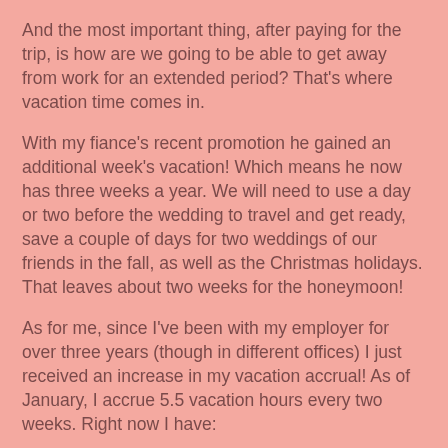And the most important thing, after paying for the trip, is how are we going to be able to get away from work for an extended period? That's where vacation time comes in.
With my fiance's recent promotion he gained an additional week's vacation! Which means he now has three weeks a year. We will need to use a day or two before the wedding to travel and get ready, save a couple of days for two weddings of our friends in the fall, as well as the Christmas holidays. That leaves about two weeks for the honeymoon!
As for me, since I've been with my employer for over three years (though in different offices) I just received an increase in my vacation accrual! As of January, I accrue 5.5 vacation hours every two weeks. Right now I have:
Vacation - 57.75 hours
Personal - 35 hours
Comp - 15.75 hours
Since it's the busy time of the year I can expect to accrue at least 20 more comp hours in the weeks to come. By July it